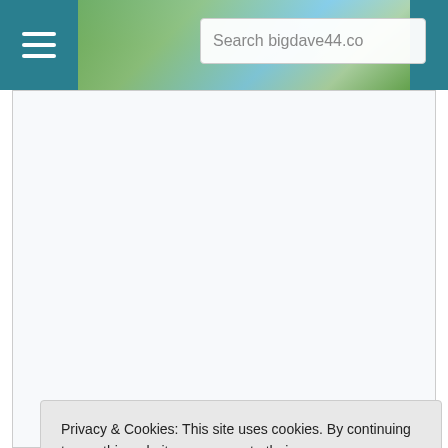Search bigdave44.co
Greta
July 2, 2021 at 10:17 pm
So is mine. None of it ever happens!
15. Rabbit Dave
Privacy & Cookies: This site uses cookies. By continuing to use this website, you agree to their use.
To find out more, including how to control cookies, see here: Cookie Policy
Close and accept
16. Steve Cowling